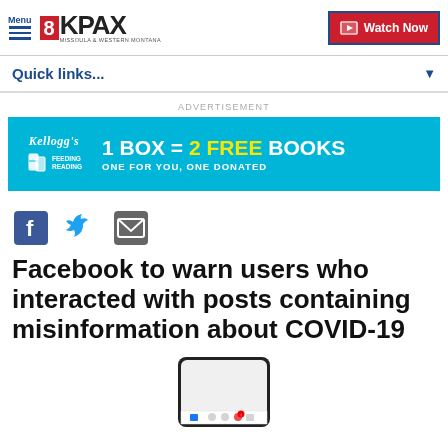Menu | 8KPAX MISSOULA & WESTERN MONTANA | Watch Now
Quick links...
[Figure (infographic): Kellogg's Feeding Reading advertisement banner: 1 BOX = 2 FREE BOOKS, ONE FOR YOU, ONE DONATED]
[Figure (infographic): Social share icons: Facebook, Twitter, Email]
Facebook to warn users who interacted with posts containing misinformation about COVID-19
[Figure (screenshot): Bottom portion of a smartphone showing a mobile app interface]